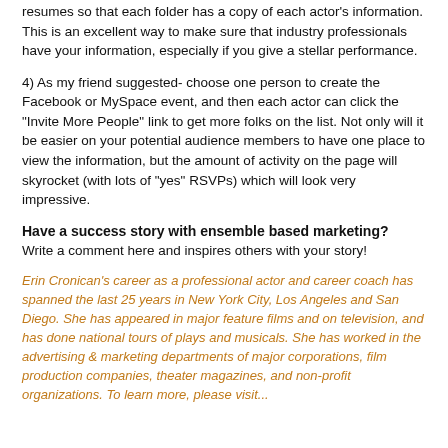resumes so that each folder has a copy of each actor's information. This is an excellent way to make sure that industry professionals have your information, especially if you give a stellar performance.
4) As my friend suggested- choose one person to create the Facebook or MySpace event, and then each actor can click the "Invite More People" link to get more folks on the list. Not only will it be easier on your potential audience members to have one place to view the information, but the amount of activity on the page will skyrocket (with lots of "yes" RSVPs) which will look very impressive.
Have a success story with ensemble based marketing? Write a comment here and inspires others with your story!
Erin Cronican's career as a professional actor and career coach has spanned the last 25 years in New York City, Los Angeles and San Diego. She has appeared in major feature films and on television, and has done national tours of plays and musicals. She has worked in the advertising & marketing departments of major corporations, film production companies, theater magazines, and non-profit organizations. To learn more, please visit...